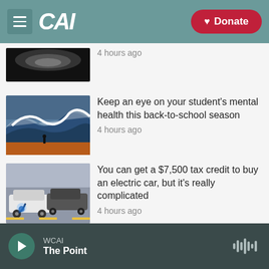CAI | Donate
4 hours ago
Keep an eye on your student's mental health this back-to-school season
4 hours ago
You can get a $7,500 tax credit to buy an electric car, but it's really complicated
4 hours ago
WCAI The Point